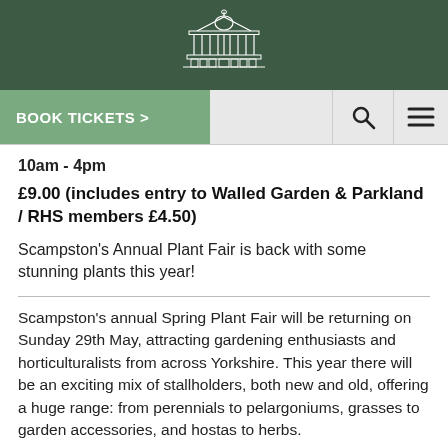[Figure (logo): Scampston Hall building logo in white outline on dark green background]
BOOK TICKETS >
10am - 4pm
£9.00 (includes entry to Walled Garden & Parkland / RHS members £4.50)
Scampston's Annual Plant Fair is back with some stunning plants this year!
Scampston's annual Spring Plant Fair will be returning on Sunday 29th May, attracting gardening enthusiasts and horticulturalists from across Yorkshire. This year there will be an exciting mix of stallholders, both new and old, offering a huge range: from perennials to pelargoniums, grasses to garden accessories, and hostas to herbs.